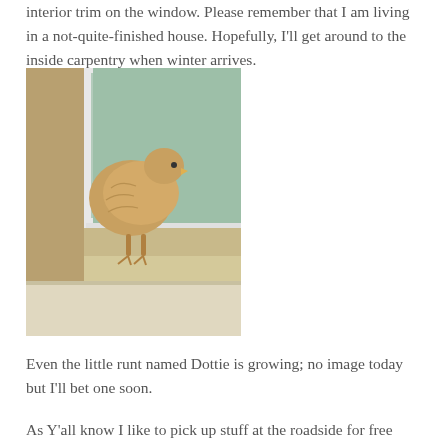interior trim on the window. Please remember that I am living in a not-quite-finished house. Hopefully, I'll get around to the inside carpentry when winter arrives.
[Figure (photo): A chicken (hen) perched on an unfinished window sill inside a house, looking out through a white-framed window toward a green outdoor area. The window sill is made of unpainted wood.]
Even the little runt named Dottie is growing; no image today but I'll bet one soon.
As Y'all know I like to pick up stuff at the roadside for free